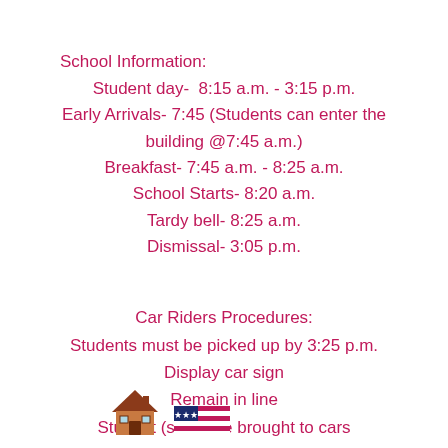School Information:
Student day-  8:15 a.m. - 3:15 p.m.
Early Arrivals- 7:45 (Students can enter the building @7:45 a.m.)
Breakfast- 7:45 a.m. - 8:25 a.m.
School Starts- 8:20 a.m.
Tardy bell- 8:25 a.m.
Dismissal- 3:05 p.m.
Car Riders Procedures:
Students must be picked up by 3:25 p.m.
Display car sign
Remain in line
Student (s) will be brought to cars
[Figure (illustration): Small house icon and US flag book icon at the bottom of the page]